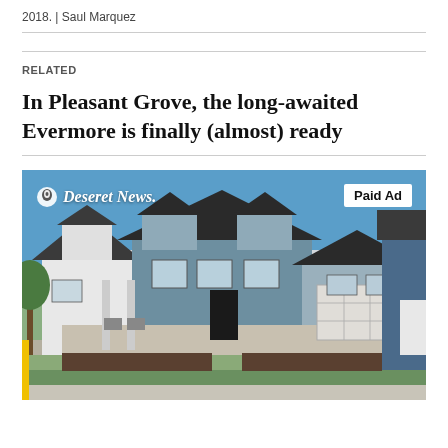2018.  |  Saul Marquez
RELATED
In Pleasant Grove, the long-awaited Evermore is finally (almost) ready
[Figure (photo): Exterior photo of a suburban house with Deseret News logo overlay and 'Paid Ad' badge. The house features a two-car garage, stone accents, blue-grey siding, and manicured lawn.]